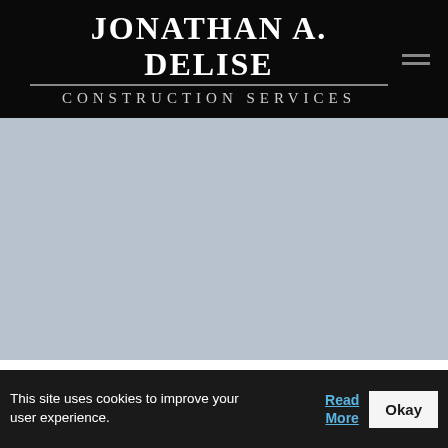JONATHAN A. DELISE CONSTRUCTION SERVICES
[Figure (photo): Light blue-grey hero image area, appears to be a placeholder or faded background image for a construction services website.]
Glenside Kitchen Remodeling Services
This site uses cookies to improve your user experience. Read More Okay